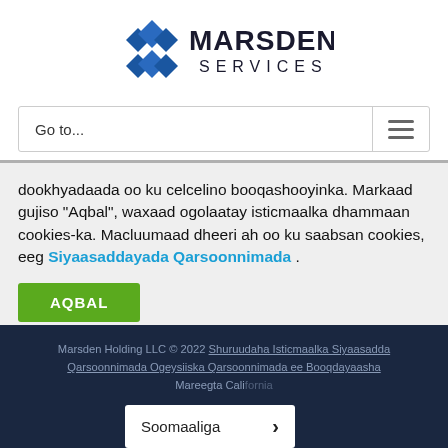[Figure (logo): Marsden Services logo with blue diamond shapes and bold text MARSDEN SERVICES]
Go to...
dookhyadaada oo ku celcelino booqashooyinka. Markaad gujiso "Aqbal", waxaad ogolaatay isticmaalka dhammaan cookies-ka. Macluumaad dheeri ah oo ku saabsan cookies, eeg Siyaasaddayada Qarsoonnimada .
AQBAL
Marsden Holding LLC © 2022 Shuruudaha Isticmaalka Siyaasadda Qarsoonnimada Ogeysiiska Qarsoonnimada ee Booqdayaasha Mareegta California
Soomaaliga